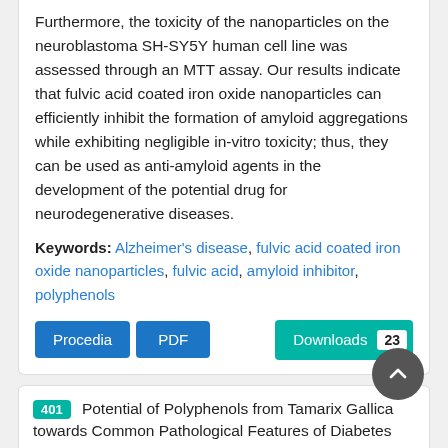Furthermore, the toxicity of the nanoparticles on the neuroblastoma SH-SY5Y human cell line was assessed through an MTT assay. Our results indicate that fulvic acid coated iron oxide nanoparticles can efficiently inhibit the formation of amyloid aggregations while exhibiting negligible in-vitro toxicity; thus, they can be used as anti-amyloid agents in the development of the potential drug for neurodegenerative diseases.
Keywords: Alzheimer's disease, fulvic acid coated iron oxide nanoparticles, fulvic acid, amyloid inhibitor, polyphenols
Procedia | PDF | Downloads 23
401 Potential of Polyphenols from Tamarix Gallica towards Common Pathological Features of Diabetes and Alzheimer's Diseases